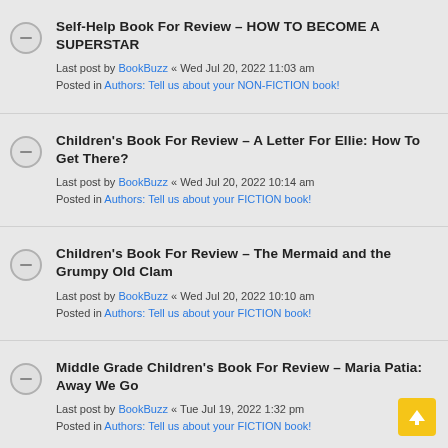Self-Help Book For Review - HOW TO BECOME A SUPERSTAR
Last post by BookBuzz « Wed Jul 20, 2022 11:03 am
Posted in Authors: Tell us about your NON-FICTION book!
Children's Book For Review - A Letter For Ellie: How To Get There?
Last post by BookBuzz « Wed Jul 20, 2022 10:14 am
Posted in Authors: Tell us about your FICTION book!
Children's Book For Review - The Mermaid and the Grumpy Old Clam
Last post by BookBuzz « Wed Jul 20, 2022 10:10 am
Posted in Authors: Tell us about your FICTION book!
Middle Grade Children's Book For Review - Maria Patia: Away We Go
Last post by BookBuzz « Tue Jul 19, 2022 1:32 pm
Posted in Authors: Tell us about your FICTION book!
Walker's Trail, young romance adventure set in 1870